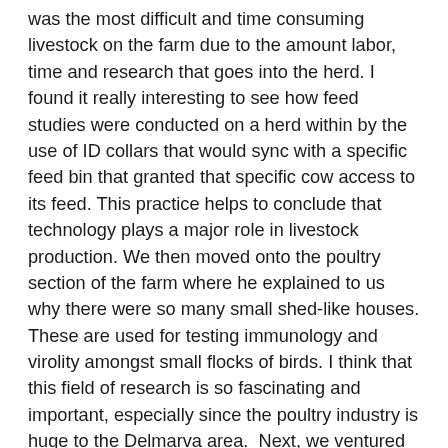was the most difficult and time consuming livestock on the farm due to the amount labor, time and research that goes into the herd. I found it really interesting to see how feed studies were conducted on a herd within by the use of ID collars that would sync with a specific feed bin that granted that specific cow access to its feed. This practice helps to conclude that technology plays a major role in livestock production. We then moved onto the poultry section of the farm where he explained to us why there were so many small shed-like houses. These are used for testing immunology and virolity amongst small flocks of birds. I think that this field of research is so fascinating and important, especially since the poultry industry is huge to the Delmarva area.  Next, we ventured to Webb Farm where we learned about the beef management practices, equine practices, as well as the sheep practices. Currently, the farm is tracking estrous in the ewes and are monitoring breedings and whether or not the ewes take. They track this by recording which ewes have the color coded chalk on their backs, meaning eventually the ram colors a ewe.